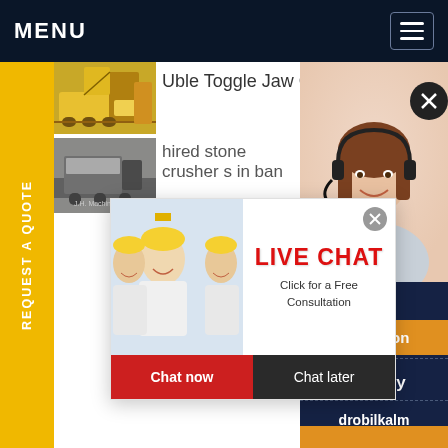MENU
Uble Toggle Jaw Crusher Portable
hired stone crusher s in ban
[Figure (photo): Yellow mining/crusher machine thumbnail]
[Figure (photo): Grey stone crusher machine thumbnail]
[Figure (photo): Live Chat popup with workers in hard hats and a consultation offer. Buttons: Chat now, Chat later.]
[Figure (photo): Customer service representative with headset on right panel]
REQUEST A QUOTE
ave any requests, ick here.
Quotation
Enquiry
drobilkalm@gmail.com